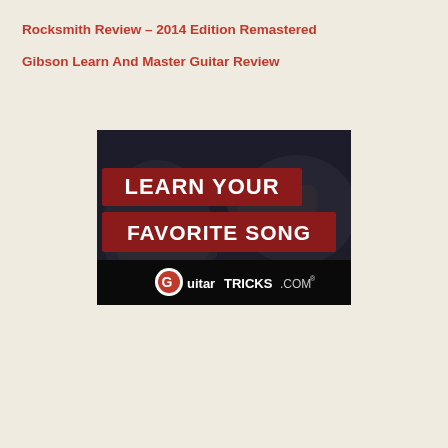Rocksmith Review – 2014 Edition Remastered
Gibson Learn And Master Guitar Review
[Figure (photo): Guitar Tricks advertisement banner showing a person playing electric guitar with text 'LEARN YOUR FAVORITE SONG' on dark red banners, and the GuitarTricks.com logo at the bottom on a black background.]